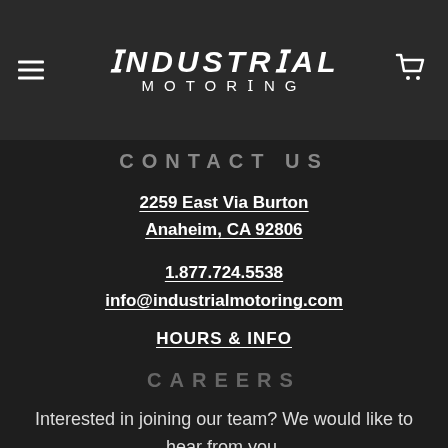INDUSTRIAL MOTORING
CONTACT US
2259 East Via Burton
Anaheim, CA 92806
1.877.724.5538
info@industrialmotoring.com
HOURS & INFO
CAREERS
Interested in joining our team? We would like to hear from you.